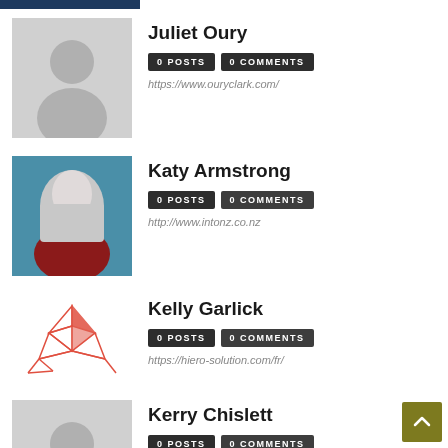[Figure (photo): Profile avatar placeholder for Juliet Oury - grey silhouette]
Juliet Oury
0 POSTS   0 COMMENTS
https://www.ouryclark.com/
[Figure (photo): Photo of Katy Armstrong - older woman with white/grey hair]
Katy Armstrong
0 POSTS   0 COMMENTS
http://www.intonz.co.nz
[Figure (logo): Red origami bird/hummingbird logo for Kelly Garlick]
Kelly Garlick
0 POSTS   0 COMMENTS
https://hiero-solution.com/fr/
[Figure (photo): Profile avatar placeholder for Kerry Chislett - grey silhouette]
Kerry Chislett
0 POSTS   0 COMMENTS
http://www.latituderelo.com
[Figure (photo): Photo of Kyriakos Tramountanellis - man in suit]
KYRIAKOS TRAMOUNTANELLIS
0 POSTS   0 COMMENTS
http://www.cyprusaccountants.com.cy